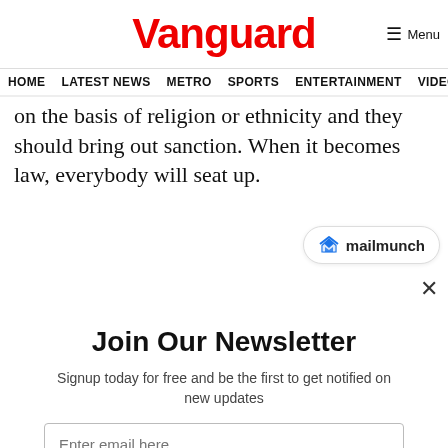Vanguard
HOME  LATEST NEWS  METRO  SPORTS  ENTERTAINMENT  VIDEOS
on the basis of religion or ethnicity and they should bring out sanction. When it becomes law, everybody will seat up.
[Figure (logo): Mailmunch logo badge with blue M icon and 'mailmunch' text]
Join Our Newsletter
Signup today for free and be the first to get notified on new updates
Enter email here